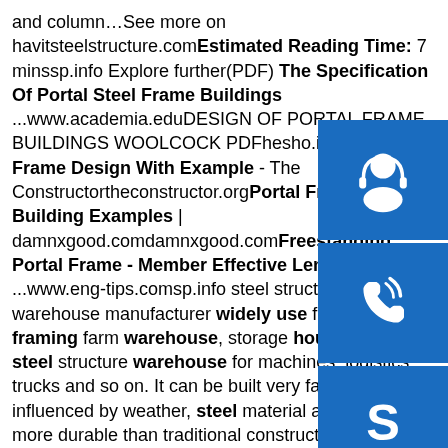and column…See more on havitsteelstructure.com Estimated Reading Time: 7 mins sp.info Explore further(PDF) The Specification Of Portal Steel Frame Buildings ...www.academia.edu DESIGN OF PORTAL FRAME BUILDINGS WOOLCOCK PDF hesho.info Portal Frame Design With Example - The Constructor theconstructor.org Portal Frame Building Examples | damnxgood.com damnxgood.com Freestanding Portal Frame - Member Effective Lengths ...www.eng-tips.com sp.info steel structure warehouse manufacturer widely use for steel framing farm warehouse, storage house, prefab steel structure warehouse for machines, logistics, trucks and so on. It can be built very fast and will not influenced by weather, steel material also will be more durable than traditional construction and the total cost is more competitive.sp.info What kind of steel does a portal steel frame use?Portal steel frame refers to the use of
[Figure (infographic): Three blue icon buttons on the right side: headset/customer service icon, phone icon, and Skype icon]